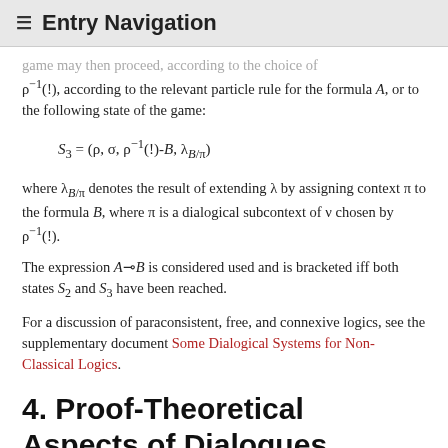≡ Entry Navigation
game may then proceed, according to the choice of ρ⁻¹(!), according to the relevant particle rule for the formula A, or to the following state of the game:
where λ_{B/π} denotes the result of extending λ by assigning context π to the formula B, where π is a dialogical subcontext of ν chosen by ρ⁻¹(!).
The expression A⊸B is considered used and is bracketed iff both states S₂ and S₃ have been reached.
For a discussion of paraconsistent, free, and connexive logics, see the supplementary document Some Dialogical Systems for Non-Classical Logics.
4. Proof-Theoretical Aspects of Dialogues